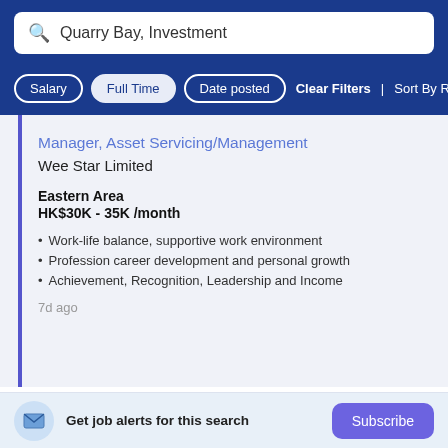Quarry Bay, Investment
Salary | Full Time | Date posted | Clear Filters | Sort By Rele…
Manager, Asset Servicing/Management
Wee Star Limited
Eastern Area
HK$30K - 35K /month
Work-life balance, supportive work environment
Profession career development and personal growth
Achievement, Recognition, Leadership and Income
7d ago
Get job alerts for this search
Subscribe